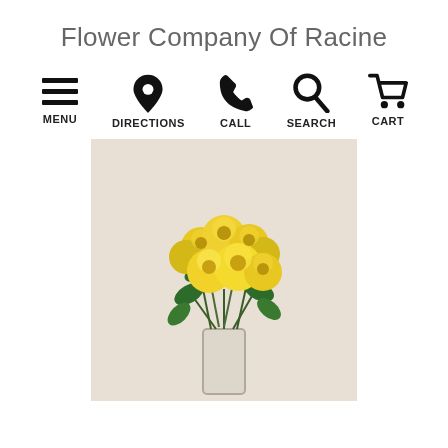Flower Company Of Racine
[Figure (infographic): Navigation bar with five icons: hamburger menu (MENU), map pin (DIRECTIONS), phone (CALL), magnifying glass (SEARCH), shopping cart (CART)]
[Figure (photo): A bouquet of yellow roses arranged in a clear glass vase against a light beige background]